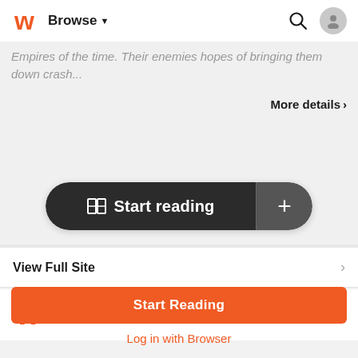Browse
Empires of the time. Their enemies hopes of bringing them down crash...
More details >
[Figure (other): Start reading button with book icon and a plus button on the right]
View Full Site >
[Figure (logo): Wattpad orange W logo]
Wattpad App - Read, Write, Connect
Start Reading
Log in with Browser